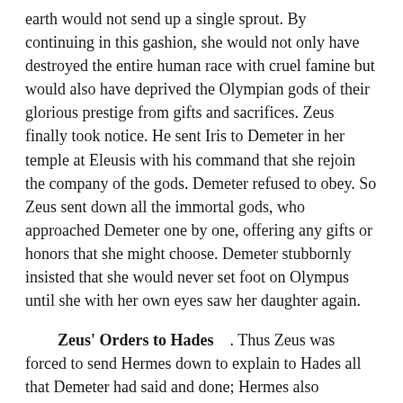earth would not send up a single sprout. By continuing in this gashion, she would not only have destroyed the entire human race with cruel famine but would also have deprived the Olympian gods of their glorious prestige from gifts and sacrifices. Zeus finally took notice. He sent Iris to Demeter in her temple at Eleusis with his command that she rejoin the company of the gods. Demeter refused to obey. So Zeus sent down all the immortal gods, who approached Demeter one by one, offering any gifts or honors that she might choose. Demeter stubbornly insisted that she would never set foot on Olympus until she with her own eyes saw her daughter again.
Zeus' Orders to Hades. Thus Zeus was forced to send Hermes down to explain to Hades all that Demeter had said and done; Hermes also delivered the command that Persephone return with him out of